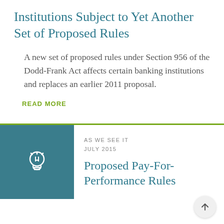Institutions Subject to Yet Another Set of Proposed Rules
A new set of proposed rules under Section 956 of the Dodd-Frank Act affects certain banking institutions and replaces an earlier 2011 proposal.
READ MORE
AS WE SEE IT
JULY 2015
Proposed Pay-For-Performance Rules